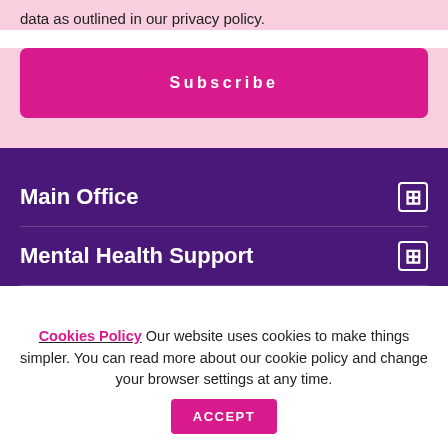data as outlined in our privacy policy.
Subscribe
Main Office
Mental Health Support
Cookies Policy Our website uses cookies to make things simpler. You can read more about our cookie policy and change your browser settings at any time.
ACCEPT